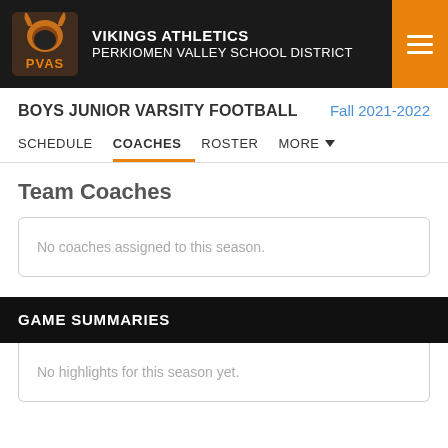VIKINGS ATHLETICS PERKIOMEN VALLEY SCHOOL DISTRICT
BOYS JUNIOR VARSITY FOOTBALL  Fall 2021-2022
SCHEDULE  COACHES  ROSTER  MORE
Team Coaches
No coaches assigned to this season.
GAME SUMMARIES
No highlights for this season yet.